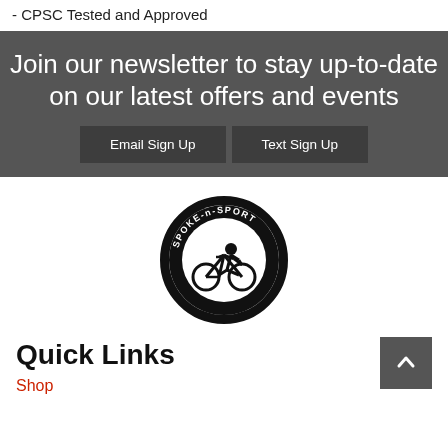- CPSC Tested and Approved
Join our newsletter to stay up-to-date on our latest offers and events
Email Sign Up | Text Sign Up
[Figure (logo): Spoke-n-Sport Bikes circular logo with cyclist silhouette]
Quick Links
Shop